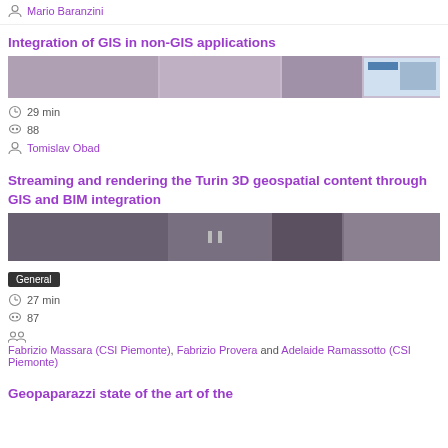Mario Baranzini
Integration of GIS in non-GIS applications
[Figure (screenshot): Thumbnail strip of presentation slides for Integration of GIS in non-GIS applications]
29 min
88
Tomislav Obad
Streaming and rendering the Turin 3D geospatial content through GIS and BIM integration
[Figure (screenshot): Thumbnail strip of presentation slides for Streaming and rendering the Turin 3D geospatial content]
General
27 min
87
Fabrizio Massara (CSI Piemonte), Fabrizio Provera and Adelaide Ramassotto (CSI Piemonte)
Geopaparazzi state of the art of the